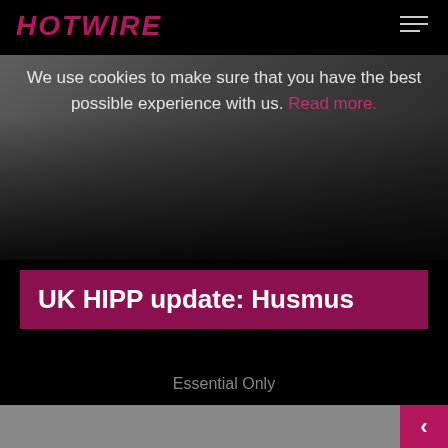HOTWIRE
[Figure (photo): Background photo of a person partially visible, with dark gradient overlay on a website screenshot]
We use cookies to make sure that you have the best possible experience with us. Read more.
UK HIPP update: Husmus
Essential Only